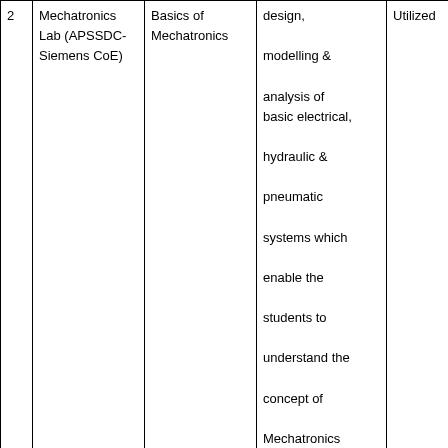| 2 | Mechatronics Lab (APSSDC-Siemens CoE) | Basics of Mechatronics | design, modelling & analysis of basic electrical, hydraulic & pneumatic systems which enable the students to understand the concept of Mechatronics | Utilized |
| 3 | Process & Instrumentation | Basic of process instrumentation, | To provide the basic knowledge of instruments such as Level measuring, | Utilized |